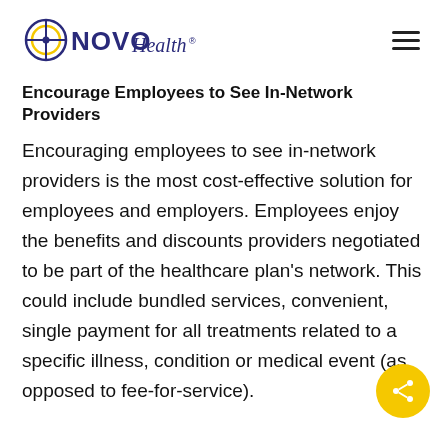NOVO Health
Encourage Employees to See In-Network Providers
Encouraging employees to see in-network providers is the most cost-effective solution for employees and employers. Employees enjoy the benefits and discounts providers negotiated to be part of the healthcare plan's network. This could include bundled services, convenient, single payment for all treatments related to a specific illness, condition or medical event (as opposed to fee-for-service).